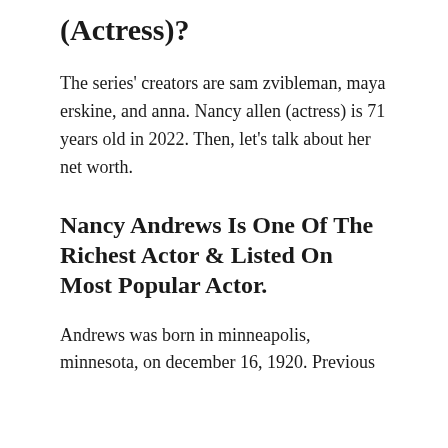(Actress)?
The series' creators are sam zvibleman, maya erskine, and anna. Nancy allen (actress) is 71 years old in 2022. Then, let's talk about her net worth.
Nancy Andrews Is One Of The Richest Actor & Listed On Most Popular Actor.
Andrews was born in minneapolis, minnesota, on december 16, 1920. Previous